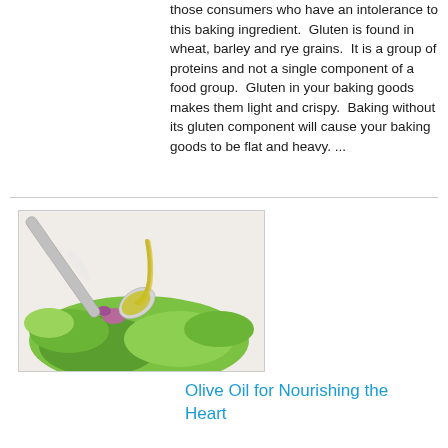those consumers who have an intolerance to this baking ingredient.  Gluten is found in wheat, barley and rye grains.  It is a group of proteins and not a single component of a food group.  Gluten in your baking goods makes them light and crispy.  Baking without its gluten component will cause your baking goods to be flat and heavy. ...
[Figure (photo): A spoon drizzling olive oil over a salad with fresh greens and herbs on a white background]
Olive Oil for Nourishing the Heart
It no secret that olive oil provides several health benefits to those who consume it on a regular basis with their meals. Those who consume it with a Medite...